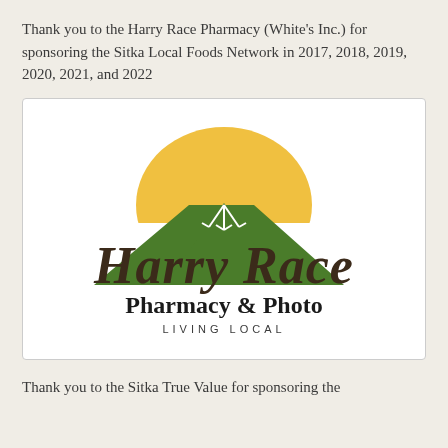Thank you to the Harry Race Pharmacy (White's Inc.) for sponsoring the Sitka Local Foods Network in 2017, 2018, 2019, 2020, 2021, and 2022
[Figure (logo): Harry Race Pharmacy & Photo logo with a green mountain and yellow/gold sunrise arc behind it, white snow detail lines on mountain peak, with text 'Harry Race' in large dark brown script font, 'Pharmacy & Photo' in bold dark serif font, and 'LIVING LOCAL' in small spaced capital letters beneath]
Thank you to the Sitka True Value for sponsoring the